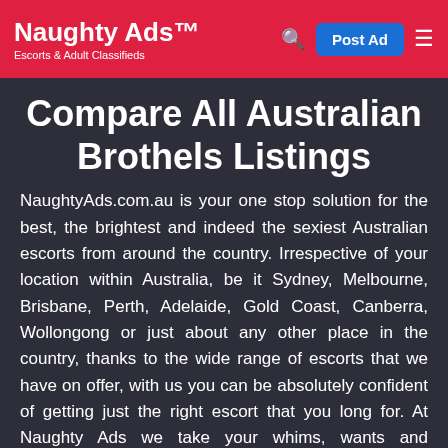Naughty Ads™ — Escorts & Adult Classifieds
Compare All Australian Brothels Listings
NaughtyAds.com.au is your one stop solution for the best, the brightest and indeed the sexiest Australian escorts from around the country. Irrespective of your location within Australia, be it Sydney, Melbourne, Brisbane, Perth, Adelaide, Gold Coast, Canberra, Wollongong or just about any other place in the country, thanks to the wide range of escorts that we have on offer, with us you can be absolutely confident of getting just the right escort that you long for. At Naughty Ads we take your whims, wants and fantasies all too seriously, so much so that there is really no pleasurable experience which our Australian escorts cannot offer. So whether it is for your own enjoyment or to please clients/friends, you can rely on Naughty Ads to